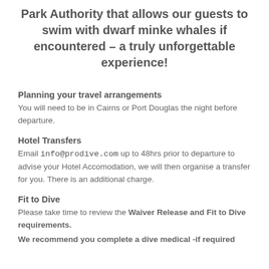Park Authority that allows our guests to swim with dwarf minke whales if encountered – a truly unforgettable experience!
Planning your travel arrangements
You will need to be in Cairns or Port Douglas the night before departure.
Hotel Transfers
Email info@prodive.com up to 48hrs prior to departure to advise your Hotel Accomodation, we will then organise a transfer for you. There is an additional charge.
Fit to Dive
Please take time to review the Waiver Release and Fit to Dive requirements.
We recommend you complete a dive medical -if required